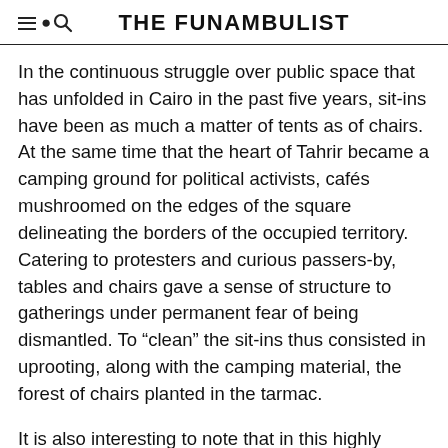THE FUNAMBULIST
In the continuous struggle over public space that has unfolded in Cairo in the past five years, sit-ins have been as much a matter of tents as of chairs. At the same time that the heart of Tahrir became a camping ground for political activists, cafés mushroomed on the edges of the square delineating the borders of the occupied territory. Catering to protesters and curious passers-by, tables and chairs gave a sense of structure to gatherings under permanent fear of being dismantled. To “clean” the sit-ins thus consisted in uprooting, along with the camping material, the forest of chairs planted in the tarmac.
It is also interesting to note that in this highly politicized context, chairs also became extremely